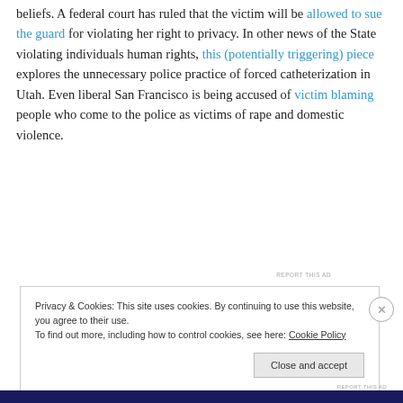beliefs. A federal court has ruled that the victim will be allowed to sue the guard for violating her right to privacy. In other news of the State violating individuals human rights, this (potentially triggering) piece explores the unnecessary police practice of forced catheterization in Utah. Even liberal San Francisco is being accused of victim blaming people who come to the police as victims of rape and domestic violence.
[Figure (other): Advertisement banner with purple/blue gradient background and text 'a business in 8 steps' with a cyan circle element]
REPORT THIS AD
Privacy & Cookies: This site uses cookies. By continuing to use this website, you agree to their use. To find out more, including how to control cookies, see here: Cookie Policy
Close and accept